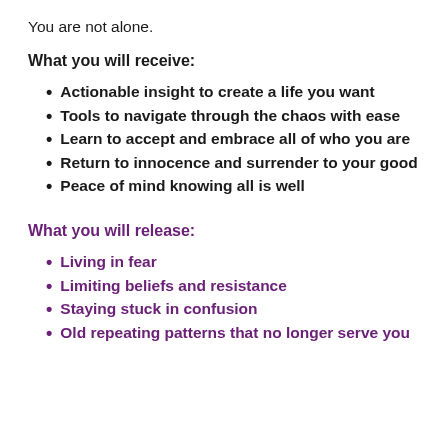You are not alone.
What you will receive:
Actionable insight to create a life you want
Tools to navigate through the chaos with ease
Learn to accept and embrace all of who you are
Return to innocence and surrender to your good
Peace of mind knowing all is well
What you will release:
Living in fear
Limiting beliefs and resistance
Staying stuck in confusion
Old repeating patterns that no longer serve you